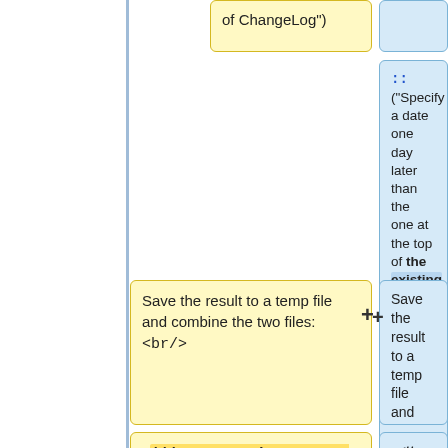of ChangeLog")
:: ("Specify a date one day later than the one at the top of the existing ChangeLog file.")
Save the result to a temp file and combine the two files: <br/>
Save the result to a temp file and combine the two files: <br/>
: '''cat tmp ChangeLog > ChangeLog.tmp; mv
: <tt style="font-size: 1.1em; font-weight: